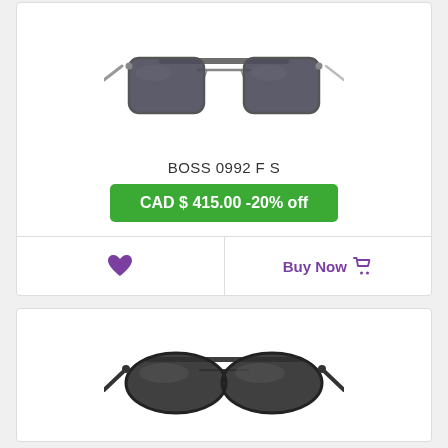[Figure (photo): Square-frame aviator-style sunglasses with dark gray lenses and silver metal temples, BOSS 0992 F S]
BOSS 0992 F S
CAD $ 415.00 -20% off
[Figure (illustration): Purple filled heart icon (wishlist/favorite button)]
Buy Now
[Figure (photo): Aviator-style sunglasses with dark gradient lenses and black frames, partially visible second product]